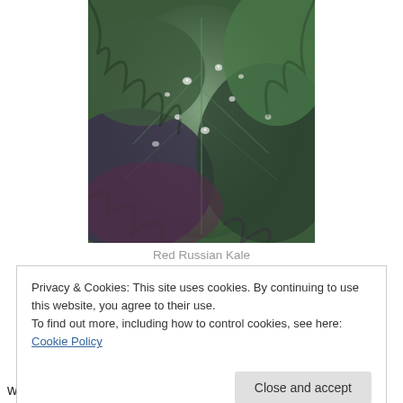[Figure (photo): Close-up photograph of Red Russian Kale leaves with water droplets, showing dark green and purple-tinged frilled leaves]
Red Russian Kale
Privacy & Cookies: This site uses cookies. By continuing to use this website, you agree to their use.
To find out more, including how to control cookies, see here: Cookie Policy
weather will through at them. I've been growing them